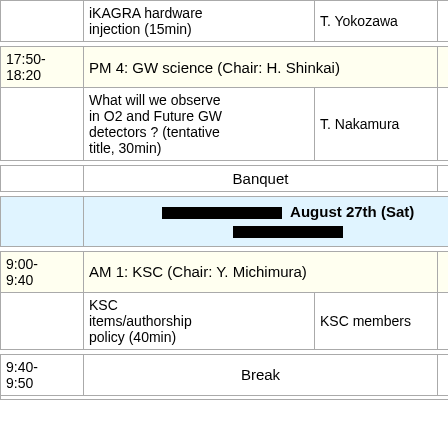| Time | Title | Speaker | Links |
| --- | --- | --- | --- |
|  | iKAGRA hardware injection (15min) | T. Yokozawa | 🌐 ○ |
| 17:50-18:20 | PM 4: GW science (Chair: H. Shinkai) |  |  |
|  | What will we observe in O2 and Future GW detectors ? (tentative title, 30min) | T. Nakamura | 🌐 × |
|  | Banquet |  |  |
|  | August 27th (Sat) |  |  |
| 9:00-9:40 | AM 1: KSC (Chair: Y. Michimura) |  |  |
|  | KSC items/authorship policy (40min) | KSC members | 🌐 ○ |
| 9:40-9:50 | Break |  |  |